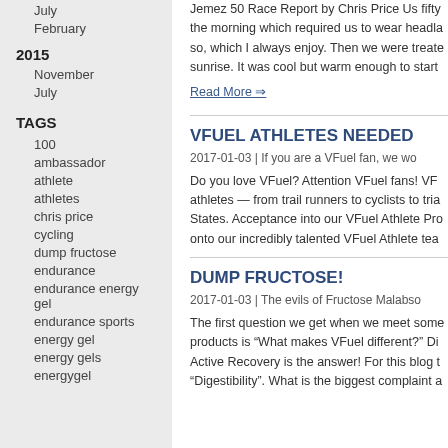July
February
2015
November
July
TAGS
100
ambassador
athlete
athletes
chris price
cycling
dump fructose
endurance
endurance energy gel
endurance sports
energy gel
energy gels
energygel
Jemez 50 Race Report by Chris Price Us fifty the morning which required us to wear headla so, which I always enjoy. Then we were treate sunrise. It was cool but warm enough to start
Read More ⇒
VFUEL ATHLETES NEEDED
2017-01-03  |  If you are a VFuel fan, we wo
Do you love VFuel?  Attention VFuel fans! VF athletes — from trail runners to cyclists to tria States. Acceptance into our VFuel Athlete Pro onto our incredibly talented VFuel Athlete tea
DUMP FRUCTOSE!
2017-01-03  |  The evils of Fructose Malabso
The first question we get when we meet some products is "What makes VFuel different?" Di Active Recovery is the answer! For this blog t "Digestibility".  What is the biggest complaint a